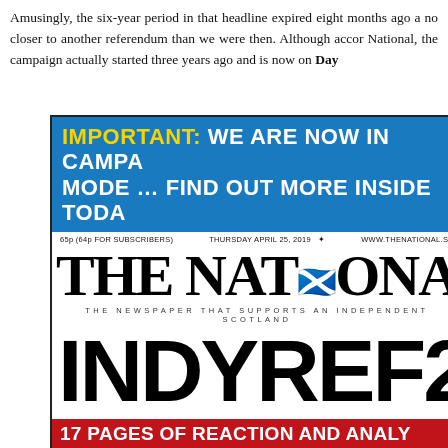Amusingly, the six-year period in that headline expired eight months ago a no closer to another referendum than we were then. Although accor National, the campaign actually started three years ago and is now on Day
[Figure (screenshot): Front page of The National newspaper, Thursday April 25, 2019. Blue banner reads 'IMPORTANT: WE ARE NOW IN CAMPAIGN MODE ... FIND OUT MORE INSIDE TODAY'. Masthead shows '65p (64p FOR SUBSCRIBERS)', 'THURSDAY APRIL 25, 2019', 'WWW.THENATIONAL.SC'. Large headline reads 'INDYREF2'. Red banner reads '17 PAGES OF REACTION AND ANALYSIS'. Bottom shows photo of First Minister with bullet points: 'First Minister wants new vote within' and 'SNP']